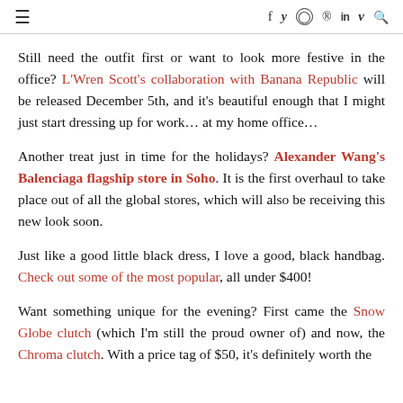≡   f   twitter  instagram  pinterest  in  V  search
Still need the outfit first or want to look more festive in the office? L'Wren Scott's collaboration with Banana Republic will be released December 5th, and it's beautiful enough that I might just start dressing up for work... at my home office...
Another treat just in time for the holidays? Alexander Wang's Balenciaga flagship store in Soho. It is the first overhaul to take place out of all the global stores, which will also be receiving this new look soon.
Just like a good little black dress, I love a good, black handbag. Check out some of the most popular, all under $400!
Want something unique for the evening? First came the Snow Globe clutch (which I'm still the proud owner of) and now, the Chroma clutch. With a price tag of $50, it's definitely worth the